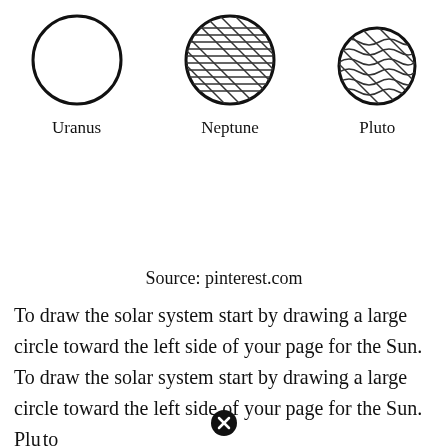[Figure (illustration): Three hand-drawn planetary bodies: Uranus (plain circle outline), Neptune (circle with horizontal parallel lines), and Pluto (circle with wavy diagonal lines). Each has a label below it.]
Uranus    Neptune    Pluto
Source: pinterest.com
To draw the solar system start by drawing a large circle toward the left side of your page for the Sun. To draw the solar system start by drawing a large circle toward the left side of your page for the Sun. Pluto...